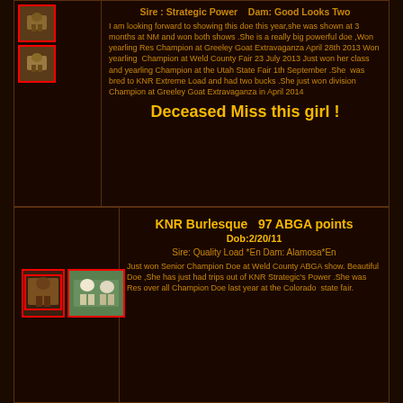Sire : Strategic Power   Dam: Good Looks Two
I am looking forward to showing this doe this year,she was shown at 3 months at NM and won both shows .She is a really big powerful doe ,Won yearling Res Champion at Greeley Goat Extravaganza April 28th 2013 Won yearling  Champion at Weld County Fair 23 July 2013 Just won her class and yearling Champion at the Utah State Fair 1th September .She  was bred to KNR Extreme Load and had two bucks .She just won division Champion at Greeley Goat Extravaganza in April 2014
Deceased Miss this girl !
KNR Burlesque  97 ABGA points
Dob:2/20/11
Sire: Quality Load *En Dam: Alamosa*En
Just won Senior Champion Doe at Weld County ABGA show. Beautiful Doe ,She has just had trips out of KNR Strategic's Power .She was Res over all Champion Doe last year at the Colorado  state fair.
[Figure (photo): Two small thumbnail photos of a goat, each with a red border]
[Figure (photo): Two small thumbnail photos of goats with red borders - bottom card]